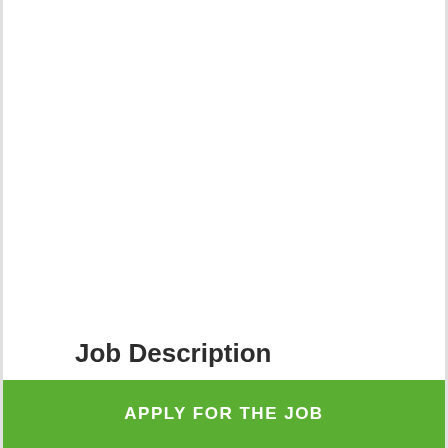Job Description
public/private banks & NBFCs
APPLY FOR THE JOB